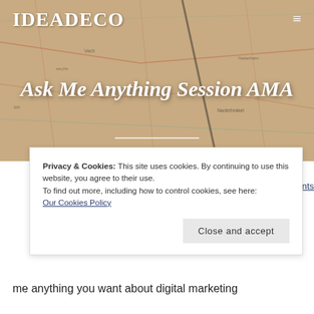[Figure (photo): Vintage map background image serving as hero banner for IDEADECO website]
IDEADECO
Ask Me Anything Session AMA
Privacy & Cookies: This site uses cookies. By continuing to use this website, you agree to their use.
To find out more, including how to control cookies, see here: Our Cookies Policy
Close and accept
me anything you want about digital marketing